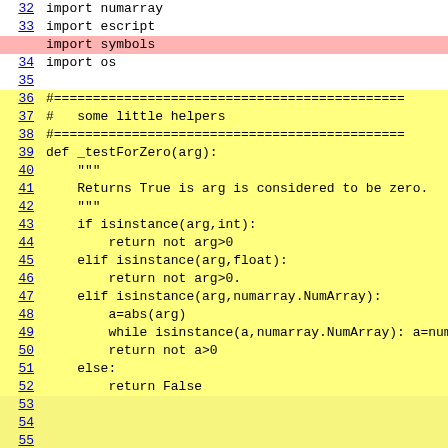32   import numarray
33   import escript
import symbols  [highlighted pink]
34   import os
35   (blank)
36   #===========================================
37   #   some little helpers
38   #===========================================
39   def _testForZero(arg):
40       """
41       Returns True is arg is considered to be zero.
42       """
43       if isinstance(arg,int):
44           return not arg>0
45       elif isinstance(arg,float):
46           return not arg>0.
47       elif isinstance(arg,numarray.NumArray):
48           a=abs(arg)
49           while isinstance(a,numarray.NumArray): a=numarray.sometrue(a
50           return not a>0
51       else:
52           return False
53   (blank)
54   (blank)
55   (blank)
56   (blank)